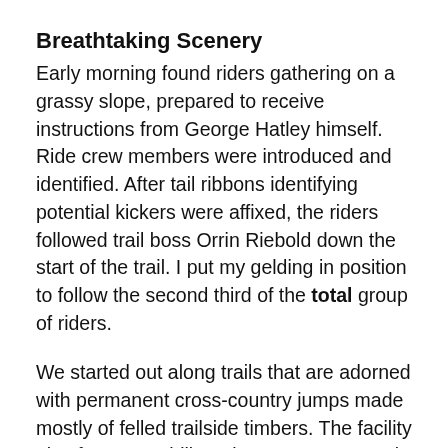Breathtaking Scenery
Early morning found riders gathering on a grassy slope, prepared to receive instructions from George Hatley himself. Ride crew members were introduced and identified. After tail ribbons identifying potential kickers were affixed, the riders followed trail boss Orrin Riebold down the start of the trail. I put my gelding in position to follow the second third of the total group of riders.
We started out along trails that are adorned with permanent cross-country jumps made mostly of felled trailside timbers. The facility also features a hilltop dressage arena and a grassy field for stadium jumping. Below the dressage arena is a longeing area with superbly